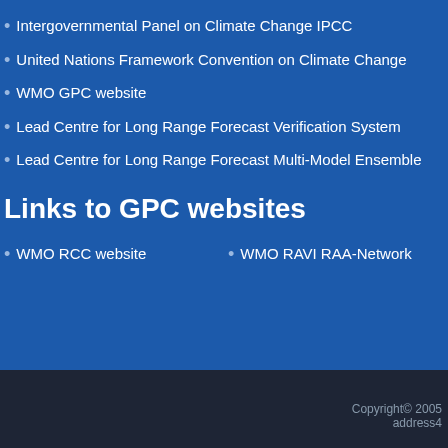Intergovernmental Panel on Climate Change IPCC
United Nations Framework Convention on Climate Change
WMO GPC website
Lead Centre for Long Range Forecast Verification System
Lead Centre for Long Range Forecast Multi-Model Ensemble
Links to GPC websites
WMO RCC website
WMO RAVI RAA-Network
Copyright© 2005 address4